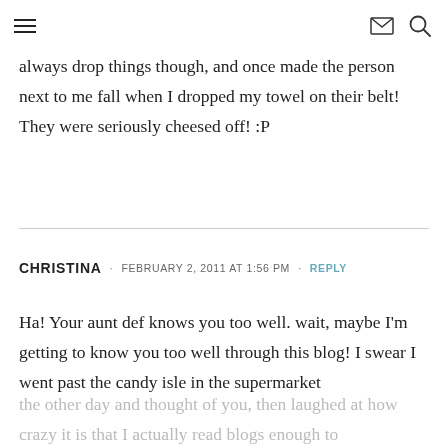Navigation header with hamburger menu, mail icon, and search icon
always drop things though, and once made the person next to me fall when I dropped my towel on their belt! They were seriously cheesed off! :P
CHRISTINA · FEBRUARY 2, 2011 AT 1:56 PM · REPLY
Ha! Your aunt def knows you too well. wait, maybe I'm getting to know you too well through this blog! I swear I went past the candy isle in the supermarket the other day and thought of you, then laughed at how crazy it is that I actually read blogs enough to